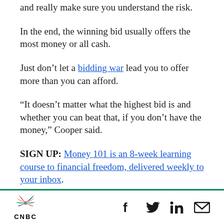and really make sure you understand the risk.
In the end, the winning bid usually offers the most money or all cash.
Just don’t let a bidding war lead you to offer more than you can afford.
“It doesn’t matter what the highest bid is and whether you can beat that, if you don’t have the money,” Cooper said.
SIGN UP: Money 101 is an 8-week learning course to financial freedom, delivered weekly to your inbox.
CNBC logo with social sharing icons: Facebook, Twitter, LinkedIn, Email